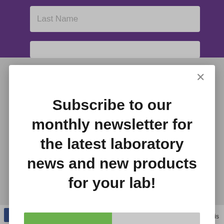[Figure (screenshot): Background purple form with Last Name input field visible]
[Figure (screenshot): Modal popup overlay with newsletter subscription prompt, Yes please! and No, thanks! buttons]
Last Name
Subscribe to our monthly newsletter for the latest laboratory news and new products for your lab!
Yes please!
No, thanks!
AddThis  Translate